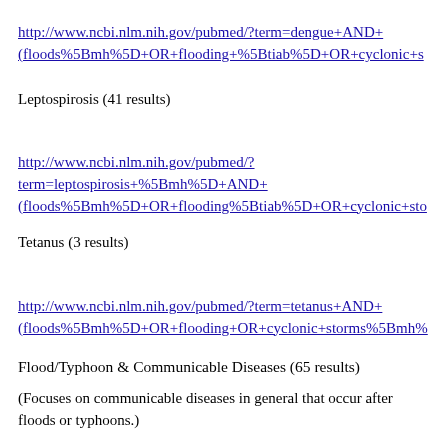http://www.ncbi.nlm.nih.gov/pubmed/?term=dengue+AND+(floods%5Bmh%5D+OR+flooding+%5Btiab%5D+OR+cyclonic+s
Leptospirosis (41 results)
http://www.ncbi.nlm.nih.gov/pubmed/?term=leptospirosis+%5Bmh%5D+AND+(floods%5Bmh%5D+OR+flooding%5Btiab%5D+OR+cyclonic+sto
Tetanus (3 results)
http://www.ncbi.nlm.nih.gov/pubmed/?term=tetanus+AND+(floods%5Bmh%5D+OR+flooding+OR+cyclonic+storms%5Bmh%
Flood/Typhoon & Communicable Diseases (65 results)
(Focuses on communicable diseases in general that occur after floods or typhoons.)